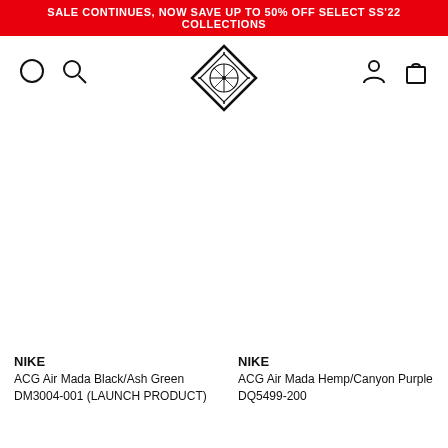SALE CONTINUES, NOW SAVE UP TO 50% OFF SELECT SS'22 COLLECTIONS
[Figure (logo): Sole supplier diamond logo with globe and compass design]
NIKE
ACG Air Mada Black/Ash Green DM3004-001 (LAUNCH PRODUCT)
NIKE
ACG Air Mada Hemp/Canyon Purple DQ5499-200